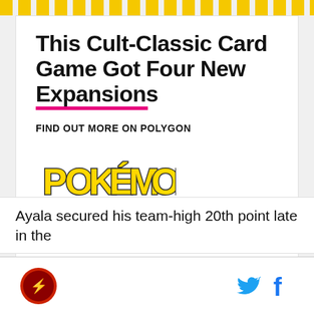[Figure (other): Yellow dashed border strip at top of page]
This Cult-Classic Card Game Got Four New Expansions
FIND OUT MORE ON POLYGON
[Figure (logo): Pokémon Trading Card Game logo]
POWERED BY CONCERT   FEEDBACK
Ayala secured his team-high 20th point late in the
Social media icons: Twitter and Facebook